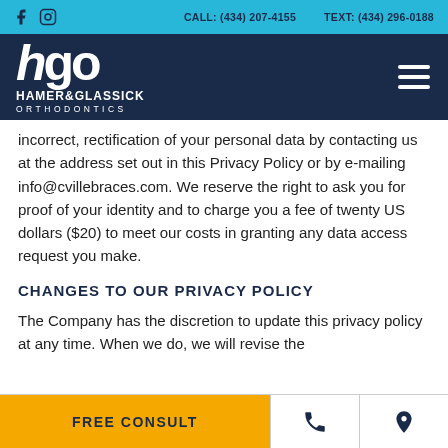f  [instagram icon]   CALL: (434) 207-4155   TEXT: (434) 296-0188
[Figure (logo): Hamer & Glassick Orthodontics logo — hgo mark in white on dark navy background with hamburger menu icon]
incorrect, rectification of your personal data by contacting us at the address set out in this Privacy Policy or by e-mailing info@cvillebraces.com. We reserve the right to ask you for proof of your identity and to charge you a fee of twenty US dollars ($20) to meet our costs in granting any data access request you make.
CHANGES TO OUR PRIVACY POLICY
The Company has the discretion to update this privacy policy at any time. When we do, we will revise the
FREE CONSULT   [phone icon]   [location icon]